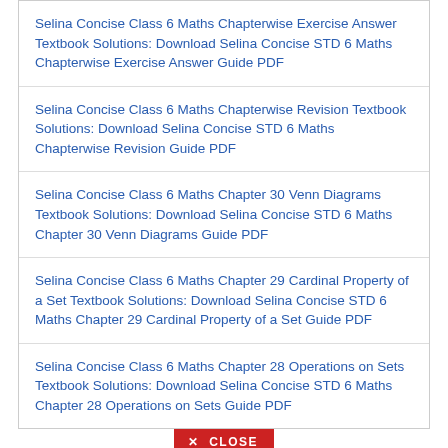Selina Concise Class 6 Maths Chapterwise Exercise Answer Textbook Solutions: Download Selina Concise STD 6 Maths Chapterwise Exercise Answer Guide PDF
Selina Concise Class 6 Maths Chapterwise Revision Textbook Solutions: Download Selina Concise STD 6 Maths Chapterwise Revision Guide PDF
Selina Concise Class 6 Maths Chapter 30 Venn Diagrams Textbook Solutions: Download Selina Concise STD 6 Maths Chapter 30 Venn Diagrams Guide PDF
Selina Concise Class 6 Maths Chapter 29 Cardinal Property of a Set Textbook Solutions: Download Selina Concise STD 6 Maths Chapter 29 Cardinal Property of a Set Guide PDF
Selina Concise Class 6 Maths Chapter 28 Operations on Sets Textbook Solutions: Download Selina Concise STD 6 Maths Chapter 28 Operations on Sets Guide PDF
✕ CLOSE
Featured Post
Selina Concise Class 6 Maths Chapterwise Exercise Answer Textbook Solutions: Download